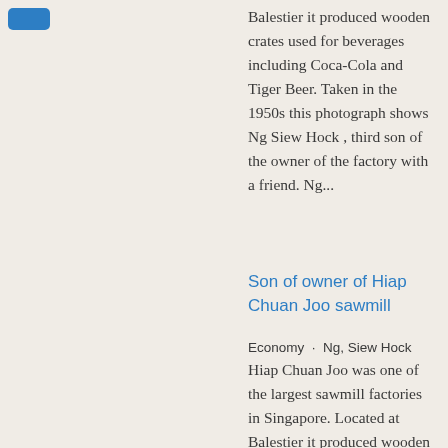[Figure (other): Small blue rounded rectangle tag/button in top-left corner]
Balestier it produced wooden crates used for beverages including Coca-Cola and Tiger Beer. Taken in the 1950s this photograph shows Ng Siew Hock , third son of the owner of the factory with a friend. Ng...
Son of owner of Hiap Chuan Joo sawmill
Economy · Ng, Siew Hock
Hiap Chuan Joo was one of the largest sawmill factories in Singapore. Located at Balestier it produced wooden crates used for beverages